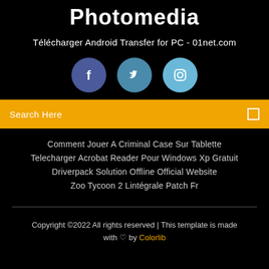Photomedia
Télécharger Android Transfer for PC - 01net.com
[Figure (illustration): Three social media icons: Facebook (dark blue circle with 'f'), Twitter (medium blue circle with bird icon), Instagram (light blue circle with camera icon)]
Search Here
Comment Jouer A Criminal Case Sur Tablette
Telecharger Acrobat Reader Pour Windows Xp Gratuit
Driverpack Solution Offline Official Website
Zoo Tycoon 2 Lintégrale Patch Fr
Copyright ©2022 All rights reserved | This template is made with ♡ by Colorlib